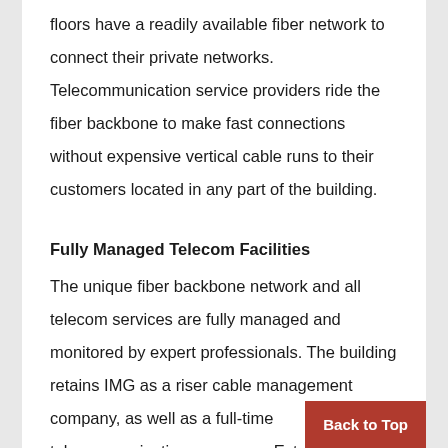floors have a readily available fiber network to connect their private networks. Telecommunication service providers ride the fiber backbone to make fast connections without expensive vertical cable runs to their customers located in any part of the building.
Fully Managed Telecom Facilities
The unique fiber backbone network and all telecom services are fully managed and monitored by expert professionals. The building retains IMG as a riser cable management company, as well as a full-time telecommunications manager, ExteNe
Back to Top